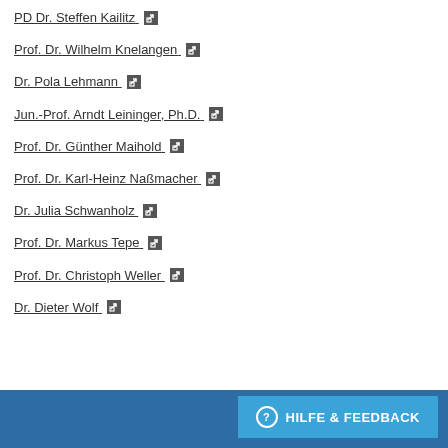PD Dr. Steffen Kailitz
Prof. Dr. Wilhelm Knelangen
Dr. Pola Lehmann
Jun.-Prof. Arndt Leininger, Ph.D.
Prof. Dr. Günther Maihold
Prof. Dr. Karl-Heinz Naßmacher
Dr. Julia Schwanholz
Prof. Dr. Markus Tepe
Prof. Dr. Christoph Weller
Dr. Dieter Wolf
HILFE & FEEDBACK